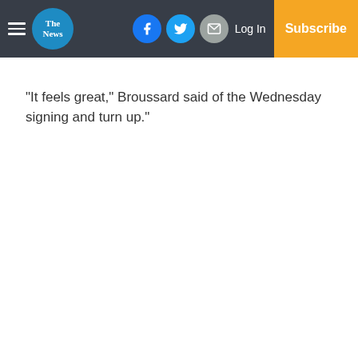The News — Log In | Subscribe
“It feels great,” Broussard said of the Wednesday signing and turn up.”